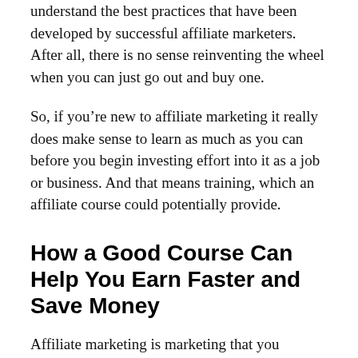understand the best practices that have been developed by successful affiliate marketers. After all, there is no sense reinventing the wheel when you can just go out and buy one.
So, if you’re new to affiliate marketing it really does make sense to learn as much as you can before you begin investing effort into it as a job or business. And that means training, which an affiliate course could potentially provide.
How a Good Course Can Help You Earn Faster and Save Money
Affiliate marketing is marketing that you provide for free upfront for your affiliate, in the hopes that you convert enough sales through your marketing to make it a